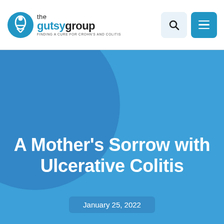[Figure (logo): The Gutsy Group logo — circular blue icon with a figure, text 'the gutsy group' with tagline 'finding a cure for Crohn's and colitis']
A Mother's Sorrow with Ulcerative Colitis
January 25, 2022